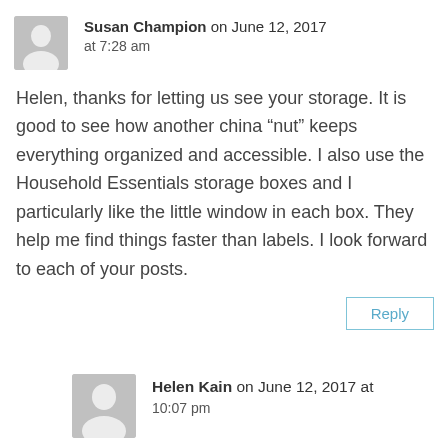Susan Champion on June 12, 2017 at 7:28 am
Helen, thanks for letting us see your storage. It is good to see how another china “nut” keeps everything organized and accessible. I also use the Household Essentials storage boxes and I particularly like the little window in each box. They help me find things faster than labels. I look forward to each of your posts.
Reply
Helen Kain on June 12, 2017 at 10:07 pm